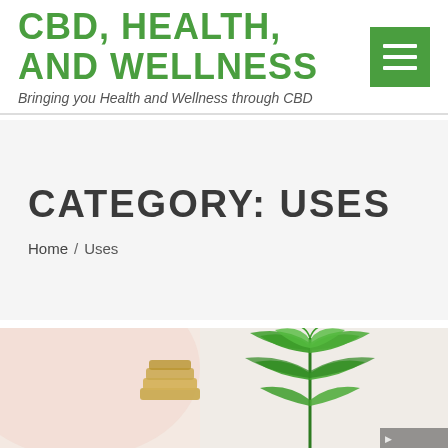CBD, HEALTH, AND WELLNESS — Bringing you Health and Wellness through CBD
CATEGORY: USES
Home / Uses
[Figure (photo): Photo of CBD oil bottle with cannabis hemp plant leaves in background, warm beige tones]